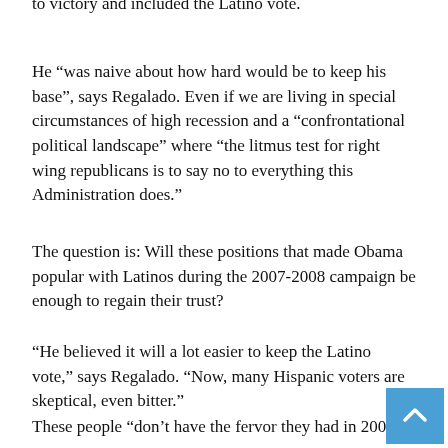to victory and included the Latino vote.
He “was naive about how hard would be to keep his base”, says Regalado. Even if we are living in special circumstances of high recession and a “confrontational political landscape” where “the litmus test for right wing republicans is to say no to everything this Administration does.”
The question is: Will these positions that made Obama popular with Latinos during the 2007-2008 campaign be enough to regain their trust?
“He believed it will a lot easier to keep the Latino vote,” says Regalado. “Now, many Hispanic voters are skeptical, even bitter.”
These people “don’t have the fervor they had in 2008.”